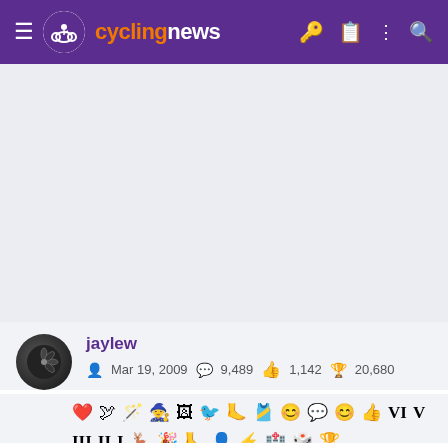cyclingnews
[Figure (screenshot): Gray content area placeholder]
jaylew
Mar 19, 2009  9,489  1,142  20,680
[Figure (infographic): User achievement badges row 1 and row 2]